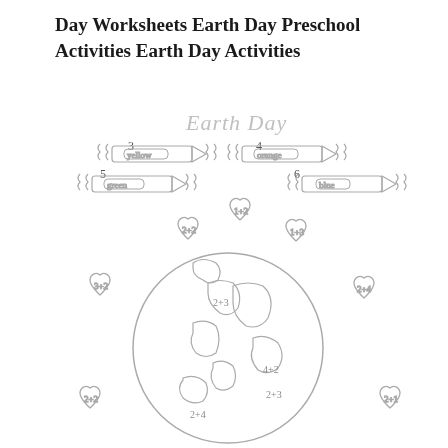Day Worksheets Earth Day Preschool Activities Earth Day Activities
[Figure (illustration): Earth Day coloring worksheet for preschool. Shows numbered crayons (3=yellow, 4=orange, 5=green, 6=blue) at the top. Below is a globe/Earth surrounded by heart shapes, each containing a simple addition equation (1+2, 2+2, 1+3, 3+2, 2+3, 2+4, 2+2, 4+2, 2+3, 2+1, 2+4). The Earth has continents drawn in outline style. Text 'Earth Day' appears at the top of the illustration in decorative lettering.]